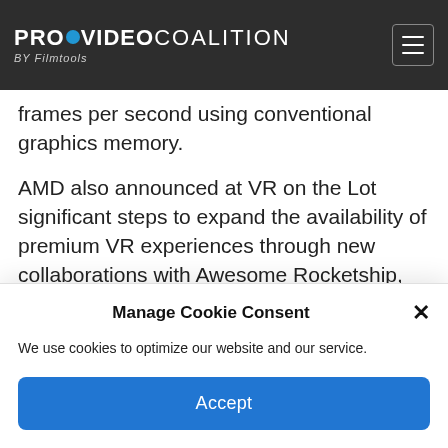PROVIDEO COALITION BY Filmtools
frames per second using conventional graphics memory.
AMD also announced at VR on the Lot significant steps to expand the availability of premium VR experiences through new collaborations with Awesome Rocketship, Howie's Game Shack and VRrOOm. The
Manage Cookie Consent
We use cookies to optimize our website and our service.
Accept